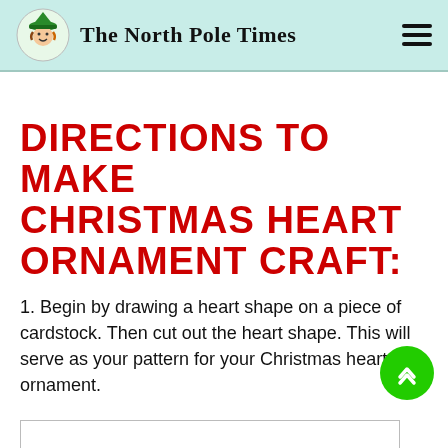The North Pole Times
Directions to Make Christmas Heart Ornament Craft:
1. Begin by drawing a heart shape on a piece of cardstock. Then cut out the heart shape. This will serve as your pattern for your Christmas heart ornament.